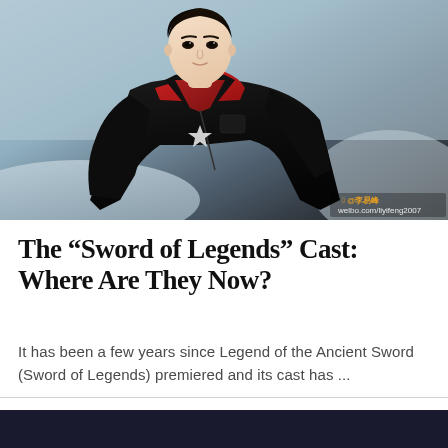[Figure (photo): Young Asian male celebrity sitting, wearing a black leather jacket over a red hoodie, light blue background. Watermark reads '@李易峰 weibo.com/liyifeng2007' in bottom right corner.]
The “Sword of Legends” Cast: Where Are They Now?
It has been a few years since Legend of the Ancient Sword (Sword of Legends) premiered and its cast has ...